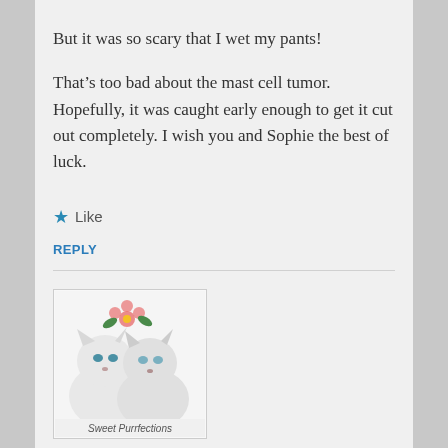But it was so scary that I wet my pants!
That’s too bad about the mast cell tumor. Hopefully, it was caught early enough to get it cut out completely. I wish you and Sophie the best of luck.
★ Like
REPLY
[Figure (illustration): Avatar image showing two fluffy cats with a flower, labeled Sweet Purrfections at the bottom]
Sweet Purrfections
May 9, 2018 at 9:18 pm